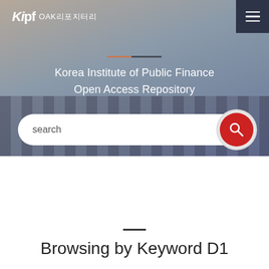[Figure (screenshot): KIPF OAK 리포지터리 website hero banner with building background, search bar, and navigation]
Kipf OAK리포지터리
Korea Institute of Public Finance Open Access Repository
search
Browsing by Keyword D1